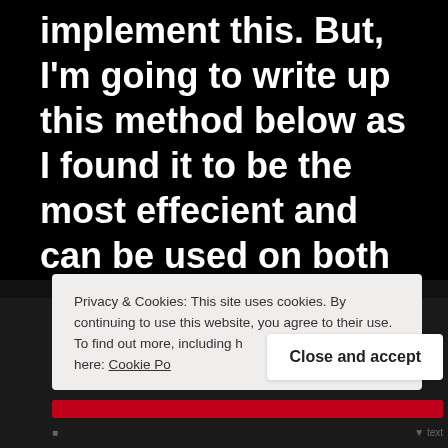implement this. But, I'm going to write up this method below as I found it to be the most effecient and can be used on both …
Continue reading →
Privacy & Cookies: This site uses cookies. By continuing to use this website, you agree to their use.
To find out more, including how to control cookies, see here: Cookie Policy
Close and accept